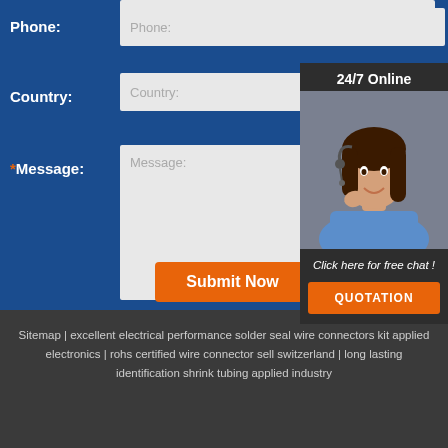Phone:
Country:
24/7 Online
[Figure (photo): Customer service representative smiling with headset]
Click here for free chat !
QUOTATION
*Message:
Submit Now
Sitemap | excellent electrical performance solder seal wire connectors kit applied electronics | rohs certified wire connector sell switzerland | long lasting identification shrink tubing applied industry